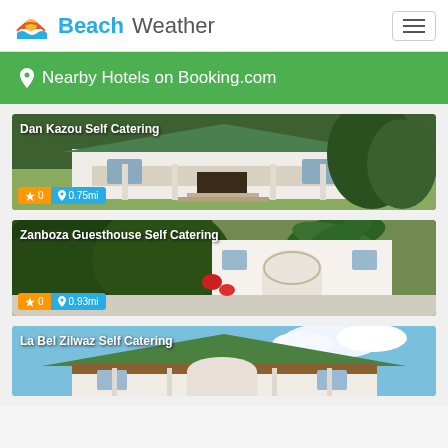BeachWeather
Nearby Hotels on Booking.com
[Figure (photo): Dan Kazou Self Catering - exterior photo of a white house with green roof surrounded by trees. Rating badge: star 0, distance: 0.75mi]
[Figure (photo): Zanboza Guesthouse Self Catering - exterior photo with tropical vegetation and white building. Rating badge: star 0, distance: 0.93mi]
[Figure (photo): La Bel Zilwaz Self Catering - exterior photo of a house with green roof and blue sky. Partially visible.]